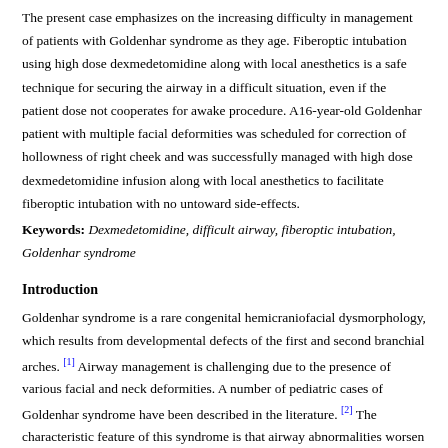The present case emphasizes on the increasing difficulty in management of patients with Goldenhar syndrome as they age. Fiberoptic intubation using high dose dexmedetomidine along with local anesthetics is a safe technique for securing the airway in a difficult situation, even if the patient dose not cooperates for awake procedure. A16-year-old Goldenhar patient with multiple facial deformities was scheduled for correction of hollowness of right cheek and was successfully managed with high dose dexmedetomidine infusion along with local anesthetics to facilitate fiberoptic intubation with no untoward side-effects.
Keywords: Dexmedetomidine, difficult airway, fiberoptic intubation, Goldenhar syndrome
Introduction
Goldenhar syndrome is a rare congenital hemicraniofacial dysmorphology, which results from developmental defects of the first and second branchial arches. [1] Airway management is challenging due to the presence of various facial and neck deformities. A number of pediatric cases of Goldenhar syndrome have been described in the literature. [2] The characteristic feature of this syndrome is that airway abnormalities worsen with age. [3] We report a case of 16-year-old patient